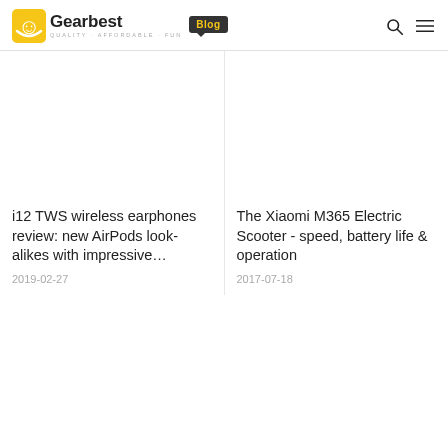Gearbest Blog
[Figure (illustration): Blank image placeholder for i12 TWS wireless earphones article]
i12 TWS wireless earphones review: new AirPods look-alikes with impressive…
2019-02-27
[Figure (illustration): Blank image placeholder for Xiaomi M365 Electric Scooter article]
The Xiaomi M365 Electric Scooter - speed, battery life & operation
2017-07-18